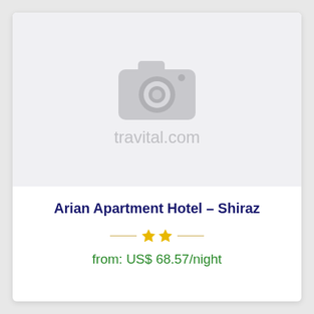[Figure (photo): Placeholder image with camera icon and watermark text 'travital.com' on a light gray background]
Arian Apartment Hotel – Shiraz
★★
from: US$ 68.57/night